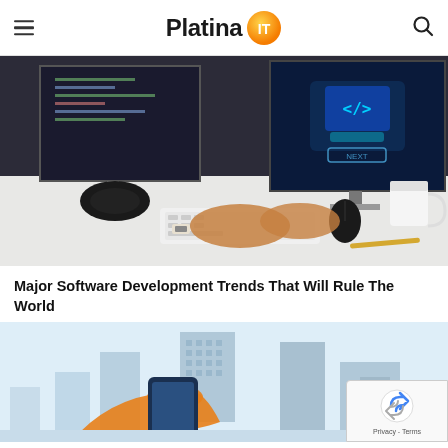Platina IT
[Figure (photo): Person sitting at a desk working on a computer. Two monitors visible, one showing code editor, another with a blue screen showing a coding/web development icon. White keyboard, black mouse, headphones, and a white mug on the desk.]
Major Software Development Trends That Will Rule The World
[Figure (illustration): Illustration showing a hand holding a smartphone with buildings/city skyline in the background, rendered in flat blue and orange tones.]